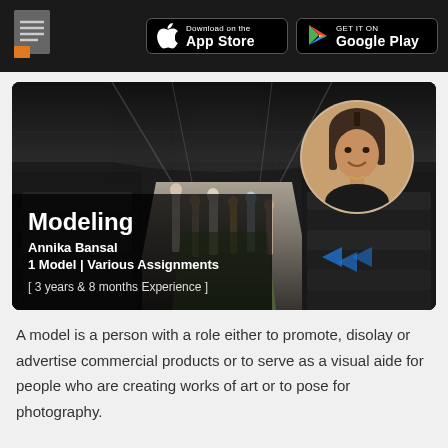Modeling app page header with App Store and Google Play download buttons
[Figure (photo): Fashion runway photo with crowd of spectators and models walking the runway, with a circular profile photo of Annika Bansal overlaid in the top right corner. Text overlay shows: Modeling, Annika Bansal, Model | Various Assignments, [ 3 years & 8 months Experience ]]
A model is a person with a role either to promote, disolay or advertise commercial products or to serve as a visual aide for people who are creating works of art or to pose for photography.